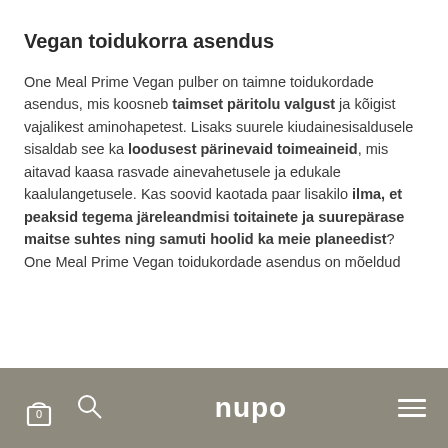Vegan toidukorra asendus
One Meal Prime Vegan pulber on taimne toidukordade asendus, mis koosneb taimset päritolu valgust ja kõigist vajalikest aminohapetest. Lisaks suurele kiudainesisaldusele sisaldab see ka loodusest pärinevaid toimeaineid, mis aitavad kaasa rasvade ainevahetusele ja edukale kaalulangetusele. Kas soovid kaotada paar lisakilo ilma, et peaksid tegema järeleandmisi toitainete ja suurepärase maitse suhtes ning samuti hoolid ka meie planeedist? One Meal Prime Vegan toidukordade asendus on mõeldud
nupo — navigation bar with cart, search, logo and menu